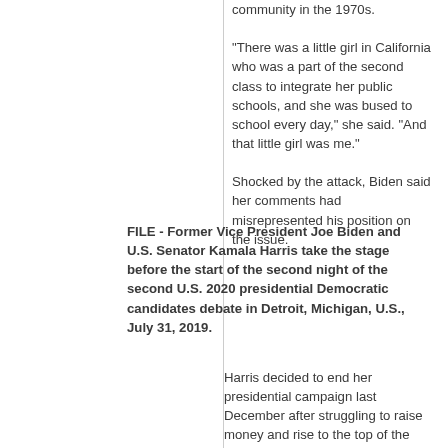community in the 1970s.

"There was a little girl in California who was a part of the second class to integrate her public schools, and she was bused to school every day," she said. "And that little girl was me."

Shocked by the attack, Biden said her comments had misrepresented his position on the issue.
FILE - Former Vice President Joe Biden and U.S. Senator Kamala Harris take the stage before the start of the second night of the second U.S. 2020 presidential Democratic candidates debate in Detroit, Michigan, U.S., July 31, 2019.
Harris decided to end her presidential campaign last December after struggling to raise money and rise to the top of the field in a crowded...